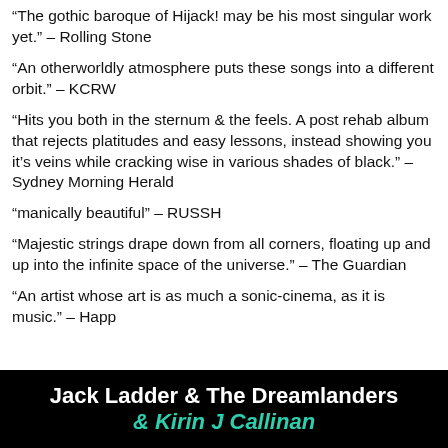“The gothic baroque of Hijack! may be his most singular work yet.” – Rolling Stone
“An otherworldly atmosphere puts these songs into a different orbit.” – KCRW
“Hits you both in the sternum & the feels. A post rehab album that rejects platitudes and easy lessons, instead showing you it’s veins while cracking wise in various shades of black.” – Sydney Morning Herald
“manically beautiful” – RUSSH
“Majestic strings drape down from all corners, floating up and up into the infinite space of the universe.” – The Guardian
“An artist whose art is as much a sonic-cinema, as it is music.” – Happ
[Figure (infographic): Black banner with white bold text 'Jack Ladder & The Dreamlanders' and teal italic bold text '& Kirin J Callinan']